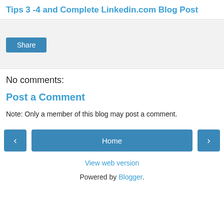Tips 3 -4 and Complete Linkedin.com Blog Post
[Figure (screenshot): Gray share box area with a Share button]
No comments:
Post a Comment
Note: Only a member of this blog may post a comment.
< Home > View web version Powered by Blogger.